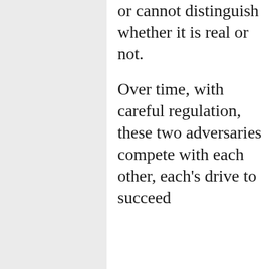or cannot distinguish whether it is real or not.

Over time, with careful regulation, these two adversaries compete with each other, each's drive to succeed